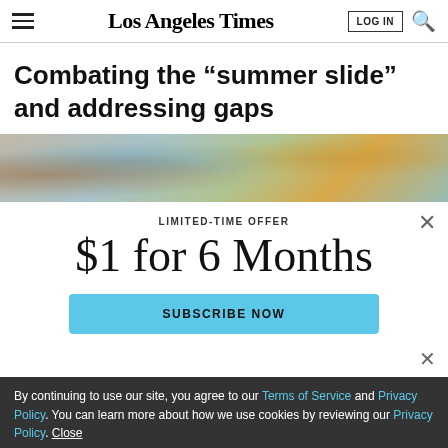Los Angeles Times
Combating the “summer slide” and addressing gaps
[Figure (photo): Classroom scene with books and colorful supplies on desks]
LIMITED-TIME OFFER
$1 for 6 Months
SUBSCRIBE NOW
By continuing to use our site, you agree to our Terms of Service and Privacy Policy. You can learn more about how we use cookies by reviewing our Privacy Policy. Close